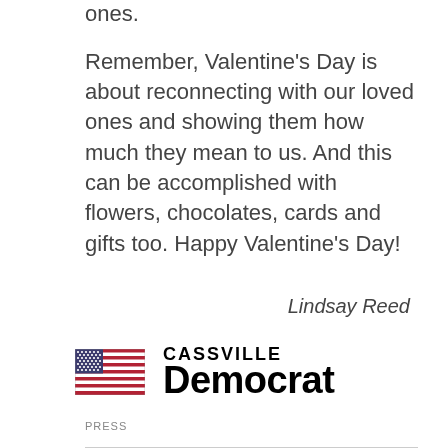ones.
Remember, Valentine's Day is about reconnecting with our loved ones and showing them how much they mean to us. And this can be accomplished with flowers, chocolates, cards and gifts too. Happy Valentine's Day!
Lindsay Reed
[Figure (logo): Cassville Democrat newspaper logo with American flag icon to the left and bold text 'CASSVILLE Democrat' to the right]
PRESS